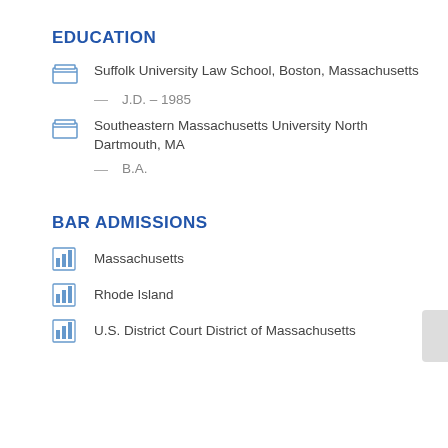EDUCATION
Suffolk University Law School, Boston, Massachusetts
J.D. – 1985
Southeastern Massachusetts University North Dartmouth, MA
B.A.
BAR ADMISSIONS
Massachusetts
Rhode Island
U.S. District Court District of Massachusetts